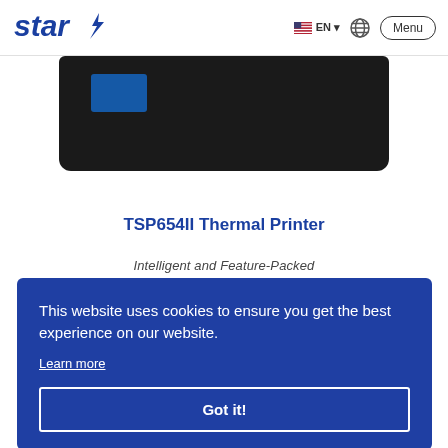Star Micronics — EN — Menu
[Figure (photo): Bottom portion of a black Star TSP654II thermal printer against a white background, with a blue label sticker visible on its front left side.]
TSP654II Thermal Printer
Intelligent and Feature-Packed
This website uses cookies to ensure you get the best experience on our website.
Learn more
Got it!